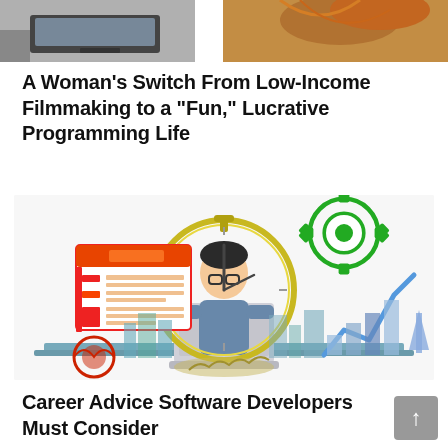[Figure (photo): Partial top image strip showing two photos side by side: left shows a laptop on a desk, right shows a woman wearing an orange/patterned headscarf]
A Woman’s Switch From Low-Income Filmmaking to a “Fun,” Lucrative Programming Life
[Figure (illustration): Colorful infographic illustration showing a developer sitting at a laptop with code symbol </>, surrounded by a stopwatch/clock, gear icon, upward arrow chart, city skyline, newspaper/document icons, and decorative elements]
Career Advice Software Developers Must Consider